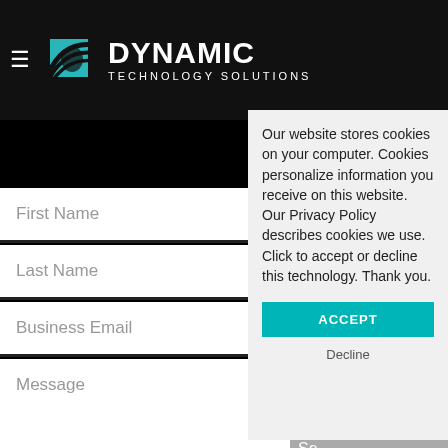DYNAMIC TECHNOLOGY SOLUTIONS
Contact Us >
First Name
Last Name
Business Email
Message
Se
Our website stores cookies on your computer. Cookies personalize information you receive on this website. Our Privacy Policy describes cookies we use. Click to accept or decline this technology. Thank you.
ACCEPT
Decline